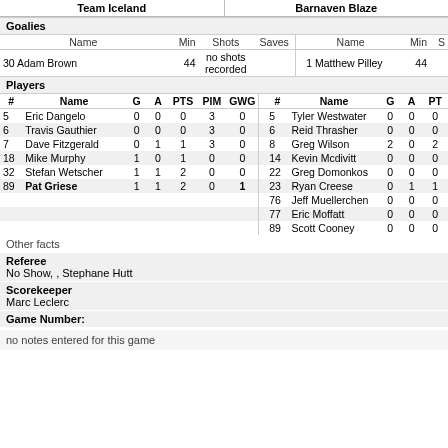Team Iceland | Barnaven Blaze
Goalies
| Name | Min | Shots | Saves | Name | Min | S |
| --- | --- | --- | --- | --- | --- | --- |
| 30 Adam Brown | 44 | no shots recorded |  | 1 Matthew Pilley | 44 |  |
Players
| # | Name | G | A | PTS | PIM | GWG | # | Name | G | A | PT |
| --- | --- | --- | --- | --- | --- | --- | --- | --- | --- | --- | --- |
| 5 | Eric Dangelo | 0 | 0 | 0 | 3 | 0 | 5 | Tyler Westwater | 0 | 0 | 0 |
| 6 | Travis Gauthier | 0 | 0 | 0 | 3 | 0 | 6 | Reid Thrasher | 0 | 0 | 0 |
| 7 | Dave Fitzgerald | 0 | 1 | 1 | 3 | 0 | 8 | Greg Wilson | 2 | 0 | 2 |
| 18 | Mike Murphy | 1 | 0 | 1 | 0 | 0 | 14 | Kevin Mcdivitt | 0 | 0 | 0 |
| 32 | Stefan Wetscher | 1 | 1 | 2 | 0 | 0 | 22 | Greg Domonkos | 0 | 0 | 0 |
| 89 | Pat Griese | 1 | 1 | 2 | 0 | 1 | 23 | Ryan Creese | 0 | 1 | 1 |
|  |  |  |  |  |  |  | 76 | Jeff Muellerchen | 0 | 0 | 0 |
|  |  |  |  |  |  |  | 77 | Eric Moffatt | 0 | 0 | 0 |
|  |  |  |  |  |  |  | 89 | Scott Cooney | 0 | 0 | 0 |
Other facts
Referee
No Show, , Stephane Hutt
Scorekeeper
Marc Leclerc
Game Number:
no notes entered for this game